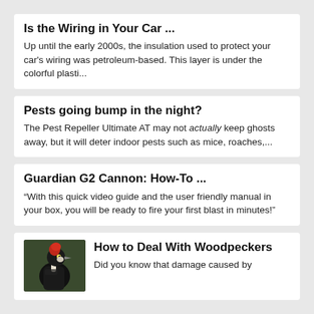Is the Wiring in Your Car ...
Up until the early 2000s, the insulation used to protect your car's wiring was petroleum-based. This layer is under the colorful plasti...
Pests going bump in the night?
The Pest Repeller Ultimate AT may not actually keep ghosts away, but it will deter indoor pests such as mice, roaches,...
Guardian G2 Cannon: How-To ...
“With this quick video guide and the user friendly manual in your box, you will be ready to fire your first blast in minutes!”
[Figure (photo): Photo of a pileated woodpecker with red crest on a dark background]
How to Deal With Woodpeckers
Did you know that damage caused by